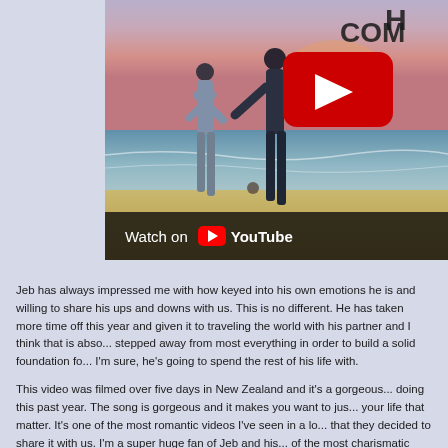[Figure (photo): Two people holding hands walking on a beach at sunset, viewed from behind. A YouTube play button overlay is visible in the upper right area of the image. A 'Watch on YouTube' bar appears at the bottom of the image.]
Jeb has always impressed me with how keyed into his own emotions he is and willing to share his ups and downs with us. This is no different. He has taken more time off this year and given it to traveling the world with his partner and I think that is absolutely wonderful. He stepped away from most everything in order to build a solid foundation for the person who, I'm sure, he's going to spend the rest of his life with.
This video was filmed over five days in New Zealand and it's a gorgeous snapshot of what he's been doing this past year. The song is gorgeous and it makes you want to just drop everything and focus on your life that matter. It's one of the most romantic videos I've seen in a long time and I'm so glad that they decided to share it with us. I'm a super huge fan of Jeb and his voice is easily one of the most charismatic voices in the industry today. The chorus swells and gives you this incredible ideal of what we all want in our lives. It's the idea of finding your "tru...